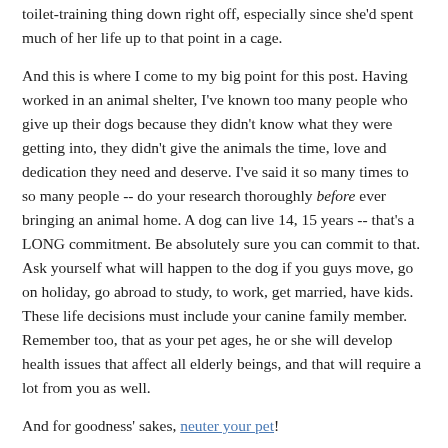toilet-training thing down right off, especially since she'd spent much of her life up to that point in a cage.
And this is where I come to my big point for this post. Having worked in an animal shelter, I've known too many people who give up their dogs because they didn't know what they were getting into, they didn't give the animals the time, love and dedication they need and deserve. I've said it so many times to so many people -- do your research thoroughly before ever bringing an animal home. A dog can live 14, 15 years -- that's a LONG commitment. Be absolutely sure you can commit to that. Ask yourself what will happen to the dog if you guys move, go on holiday, go abroad to study, to work, get married, have kids. These life decisions must include your canine family member. Remember too, that as your pet ages, he or she will develop health issues that affect all elderly beings, and that will require a lot from you as well.
And for goodness' sakes, neuter your pet!
Again, 15 years is a long commitment -- many people don't even begin to grasp the concept of that when they first pick up a little puppy and fall for those big eyes and lovable face. Really think